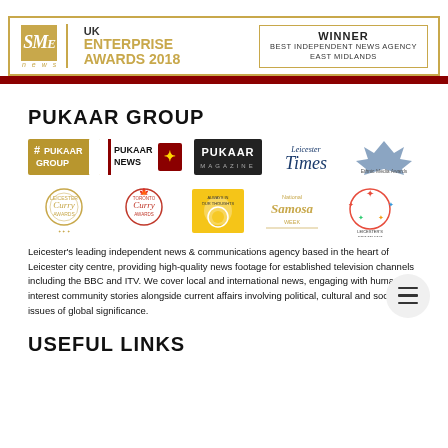[Figure (logo): SME News UK Enterprise Awards 2018 banner with Winner - Best Independent News Agency East Midlands award box]
PUKAAR GROUP
[Figure (logo): Row of Pukaar Group brand logos: #PukaarGroup, Pukaar News, Pukaar Magazine, Leicester Times, Ethnic Media Awards]
[Figure (logo): Row of secondary logos: Leicester Curry Awards, Toronto Curry Awards, Always in Our Thoughts, National Samosa Week, Leicester's Got Talent]
Leicester's leading independent news & communications agency based in the heart of Leicester city centre, providing high-quality news footage for established television channels including the BBC and ITV. We cover local and international news, engaging with human interest community stories alongside current affairs involving political, cultural and social issues of global significance.
USEFUL LINKS